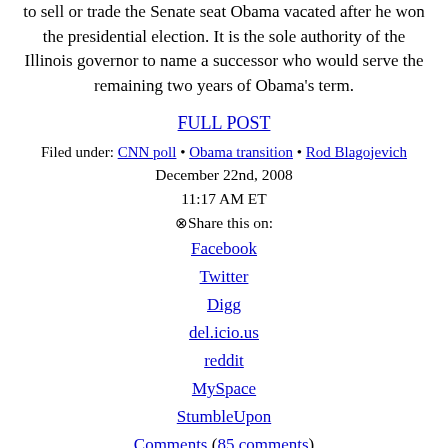to sell or trade the Senate seat Obama vacated after he won the presidential election. It is the sole authority of the Illinois governor to name a successor who would serve the remaining two years of Obama's term.
FULL POST
Filed under: CNN poll • Obama transition • Rod Blagojevich
December 22nd, 2008
11:17 AM ET
⊗Share this on:
Facebook
Twitter
Digg
del.icio.us
reddit
MySpace
StumbleUpon
Comments (85 comments)
14 years ago
Obama transition sees eye-popping 300,000 resumes